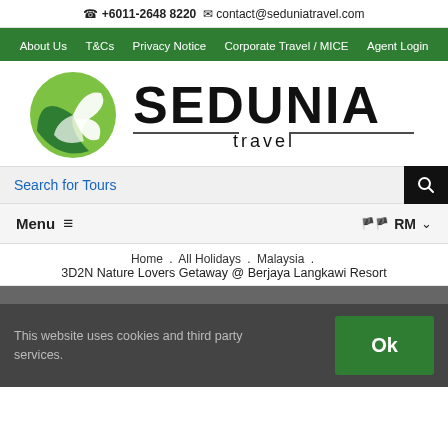☎ +6011-2648 8220 ✉ contact@seduniatravel.com
About Us  T&Cs  Privacy Notice  Corporate Travel / MICE  Agent Login
[Figure (logo): Sedunia Travel logo with green circular bird icon and bold SEDUNIA text with 'travel' in smaller text below]
Search for Tours
Menu ≡   🏳 RM ∨
Home . All Holidays . Malaysia . 3D2N Nature Lovers Getaway @ Berjaya Langkawi Resort
This website uses cookies and third party services.   Ok